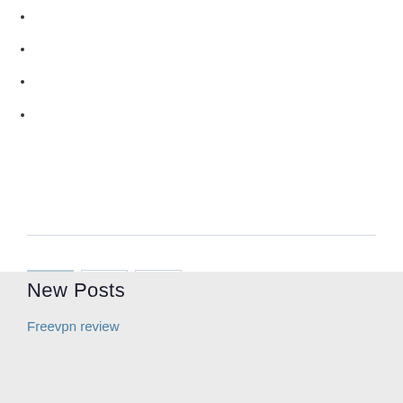[Figure (other): Pagination controls showing page 1 (active/highlighted), page 2, and a next arrow button]
New Posts
Freevpn review